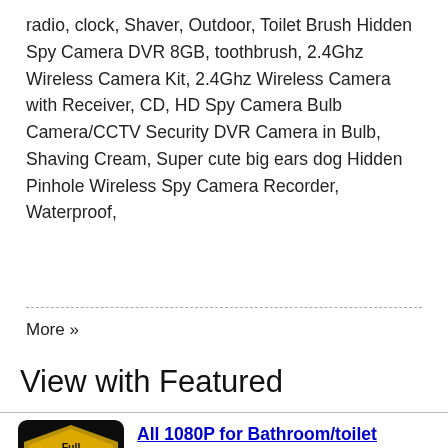radio, clock, Shaver, Outdoor, Toilet Brush Hidden Spy Camera DVR 8GB, toothbrush, 2.4Ghz Wireless Camera Kit, 2.4Ghz Wireless Camera with Receiver, CD, HD Spy Camera Bulb Camera/CCTV Security DVR Camera in Bulb, Shaving Cream, Super cute big ears dog Hidden Pinhole Wireless Spy Camera Recorder, Waterproof,
More »
View with Featured
[Figure (logo): Full HD 1080p badge icon — black and gold shield-like badge]
All 1080P for Bathroom/toilet .. Or View 1080P for Body Worn
[Figure (logo): Night vision icon — crescent moon and stars on dark blue background]
All Night Vision for Bathroom/toilet .. Or View Night Vision for Body Worn
[Figure (logo): Motion detection icon — person with motion signal on grey/white background]
All Motion Actived for Bathroom/toilet .. Or View Motion Actived for Body Worn
[Figure (logo): Remote control icon — grey background with remote/hand symbol]
All Remote Control for Bathroom/toilet